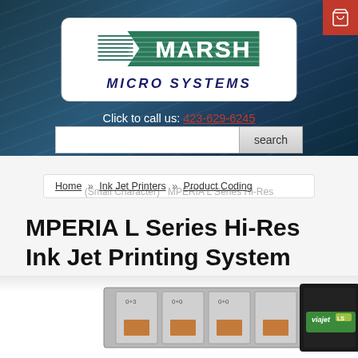[Figure (logo): Marsh Micro Systems logo — green arrow-shaped MARSH wordmark with horizontal lines, italic blue MICRO SYSTEMS text below, inside white rounded rectangle. Dark blue/teal background banner with subtle diagonal line texture. Red cart icon top-right.]
Click to call us: 423-629-6245
search
Home » Ink Jet Printers » Product Coding
MPERIA L Series Hi-Res Ink Jet Printing System
[Figure (photo): Partial photo of ViaJet L inkjet printing system — multiple print heads in a silver/gray housing with orange elements, black body with ViaJet LS branding label visible on right side.]